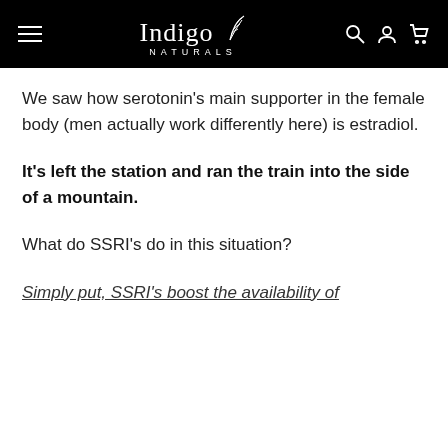Indigo Naturals
We saw how serotonin's main supporter in the female body (men actually work differently here) is estradiol.
It's left the station and ran the train into the side of a mountain.
What do SSRI's do in this situation?
Simply put, SSRI's boost the availability of